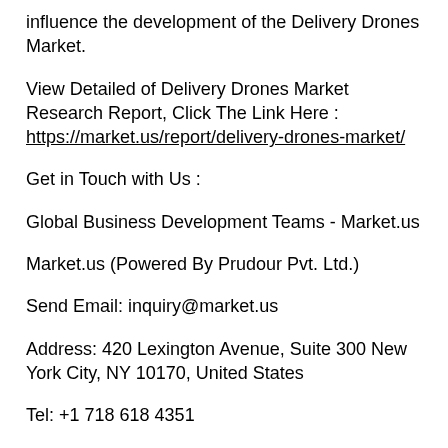influence the development of the Delivery Drones Market.
View Detailed of Delivery Drones Market Research Report, Click The Link Here : https://market.us/report/delivery-drones-market/
Get in Touch with Us :
Global Business Development Teams - Market.us
Market.us (Powered By Prudour Pvt. Ltd.)
Send Email: inquiry@market.us
Address: 420 Lexington Avenue, Suite 300 New York City, NY 10170, United States
Tel: +1 718 618 4351